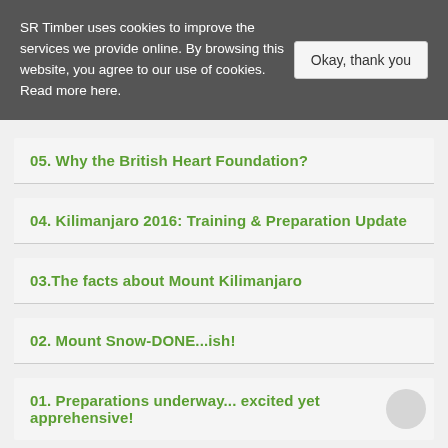SR Timber uses cookies to improve the services we provide online. By browsing this website, you agree to our use of cookies. Read more here.
05. Why the British Heart Foundation?
04. Kilimanjaro 2016: Training & Preparation Update
03.The facts about Mount Kilimanjaro
02. Mount Snow-DONE...ish!
01. Preparations underway... excited yet apprehensive!